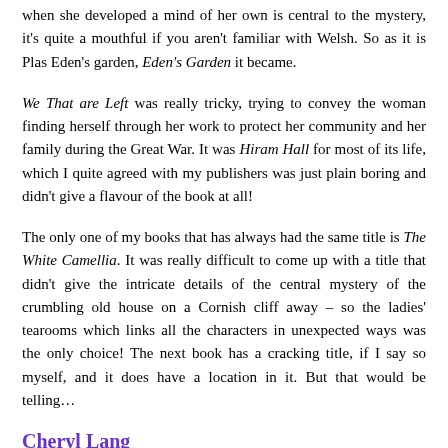when she developed a mind of her own is central to the mystery, it's quite a mouthful if you aren't familiar with Welsh. So as it is Plas Eden's garden, Eden's Garden it became.
We That are Left was really tricky, trying to convey the woman finding herself through her work to protect her community and her family during the Great War. It was Hiram Hall for most of its life, which I quite agreed with my publishers was just plain boring and didn't give a flavour of the book at all!
The only one of my books that has always had the same title is The White Camellia. It was really difficult to come up with a title that didn't give the intricate details of the central mystery of the crumbling old house on a Cornish cliff away – so the ladies' tearooms which links all the characters in unexpected ways was the only choice! The next book has a cracking title, if I say so myself, and it does have a location in it. But that would be telling…
Cheryl Lang